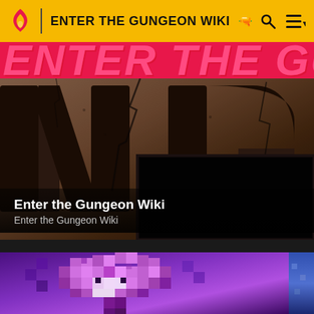ENTER THE GUNGEON WIKI
[Figure (screenshot): Enter the Gungeon Wiki hero banner with cracked stone dark letters spelling GUNGEON on a brown/dark background, with a black panel overlay, and pink-red stylized letter strip at top]
Enter the Gungeon Wiki
Enter the Gungeon Wiki
[Figure (screenshot): Pixel art image of a purple/magenta mushroom-like character on dark purple background, partially cropped, with a narrow blue panel on right edge]